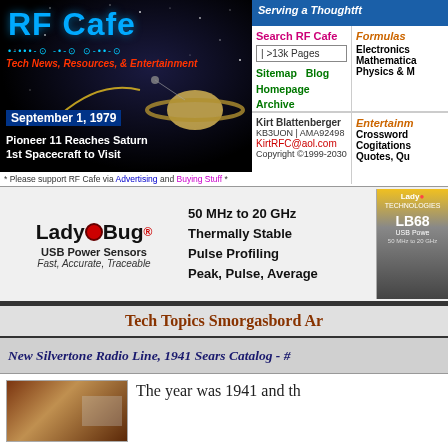[Figure (logo): RF Cafe logo with space background, Saturn planet, headline: September 1, 1979, Pioneer 11 Reaches Saturn 1st Spacecraft to Visit]
* Please support RF Cafe via Advertising and Buying Stuff *
Serving a Thoughtful
Search RF Cafe
>13k Pages
Sitemap   Blog
Homepage Archive
Formulas
Electronics
Mathematics
Physics & M
Kirt Blattenberger
KB3UON | AMA92498
KirtRFC@aol.com
Copyright ©1999-2030
Entertainm
Crossword
Cogitations
Quotes, Qu
[Figure (infographic): LadyBug USB Power Sensors advertisement: 50 MHz to 20 GHz, Thermally Stable, Pulse Profiling, Peak, Pulse, Average. Fast, Accurate, Traceable. LB68 product image shown.]
Tech Topics Smorgasbord Ar
New Silvertone Radio Line, 1941 Sears Catalog - #
The year was 1941 and th